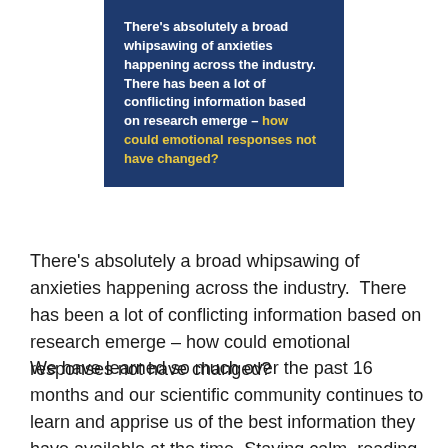There's absolutely a broad whipsawing of anxieties happening across the industry. There has been a lot of conflicting information based on research emerge – how could emotional responses not have changed?
There's absolutely a broad whipsawing of anxieties happening across the industry.  There has been a lot of conflicting information based on research emerge – how could emotional responses not have changed?
We have learned so much over the past 16 months and our scientific community continues to learn and apprise us of the best information they have available at the time. Staying calm, reading as much you can, and doing what you feel is best for your family and your clients is all that